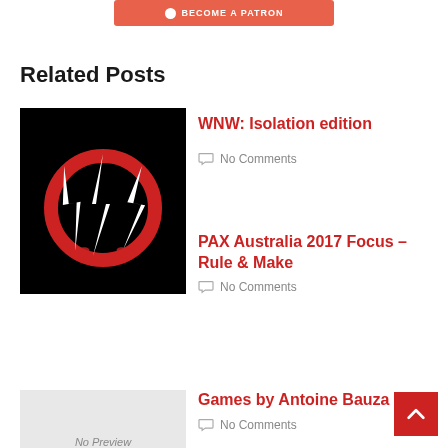[Figure (illustration): Patreon banner button with circle icon and text BECOME A PATRON on salmon/red background]
Related Posts
[Figure (illustration): WNW logo - white stylized lightning bolt / WNW letters with red flame/circle on black background]
WNW: Isolation edition
No Comments
PAX Australia 2017 Focus – Rule & Make
No Comments
[Figure (illustration): No Preview placeholder image in light gray]
Games by Antoine Bauza
No Comments